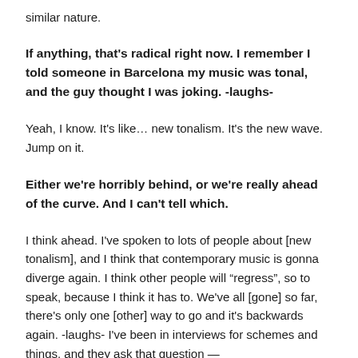similar nature.
If anything, that's radical right now. I remember I told someone in Barcelona my music was tonal, and the guy thought I was joking. -laughs-
Yeah, I know. It's like… new tonalism. It's the new wave. Jump on it.
Either we're horribly behind, or we're really ahead of the curve. And I can't tell which.
I think ahead. I've spoken to lots of people about [new tonalism], and I think that contemporary music is gonna diverge again. I think other people will “regress”, so to speak, because I think it has to. We've all [gone] so far, there's only one [other] way to go and it's backwards again. -laughs- I've been in interviews for schemes and things, and they ask that question —